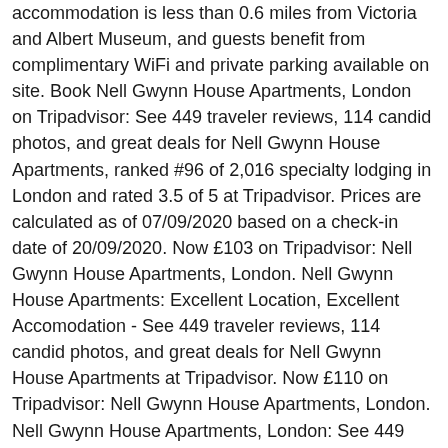accommodation is less than 0.6 miles from Victoria and Albert Museum, and guests benefit from complimentary WiFi and private parking available on site. Book Nell Gwynn House Apartments, London on Tripadvisor: See 449 traveler reviews, 114 candid photos, and great deals for Nell Gwynn House Apartments, ranked #96 of 2,016 specialty lodging in London and rated 3.5 of 5 at Tripadvisor. Prices are calculated as of 07/09/2020 based on a check-in date of 20/09/2020. Now £103 on Tripadvisor: Nell Gwynn House Apartments, London. Nell Gwynn House Apartments: Excellent Location, Excellent Accomodation - See 449 traveler reviews, 114 candid photos, and great deals for Nell Gwynn House Apartments at Tripadvisor. Now £110 on Tripadvisor: Nell Gwynn House Apartments, London. Nell Gwynn House Apartments, London: See 449 traveller reviews, 114 candid photos, and great deals for Nell Gwynn House Apartments, ranked #95 of 1,909 Speciality lodging in London and rated 3.5 of … Review of Nell Gwynn House Apartments. See 449 traveller reviews, 114 candid photos, and great deals for Nell Gwynn House Apartments, ranked #96 of 2,025 Speciality lodging in London and rated 3.5 of 5 at